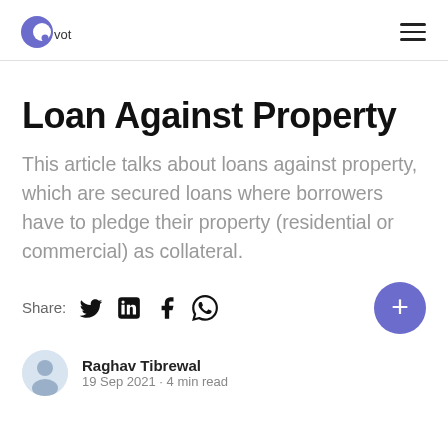Pvot logo and navigation
Loan Against Property
This article talks about loans against property, which are secured loans where borrowers have to pledge their property (residential or commercial) as collateral.
Share: [Twitter] [LinkedIn] [Facebook] [WhatsApp]
Raghav Tibrewal
19 Sep 2021 · 4 min read